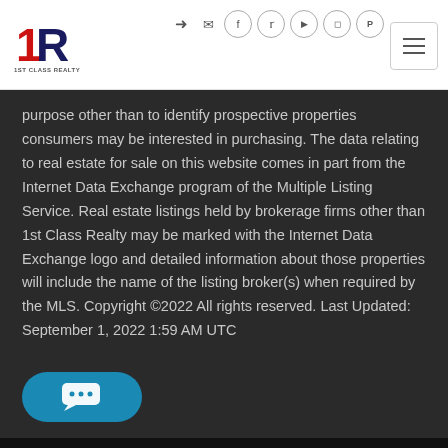1ST CLASS REALTY — navigation header with logo and social icons
purpose other than to identify prospective properties consumers may be interested in purchasing. The data relating to real estate for sale on this website comes in part from the Internet Data Exchange program of the Multiple Listing Service. Real estate listings held by brokerage firms other than 1st Class Realty may be marked with the Internet Data Exchange logo and detailed information about those properties will include the name of the listing broker(s) when required by the MLS. Copyright ©2022 All rights reserved. Last Updated: September 1, 2022 1:59 AM UTC
[Figure (other): Blue rounded chat button with speech bubble dots icon at bottom left]